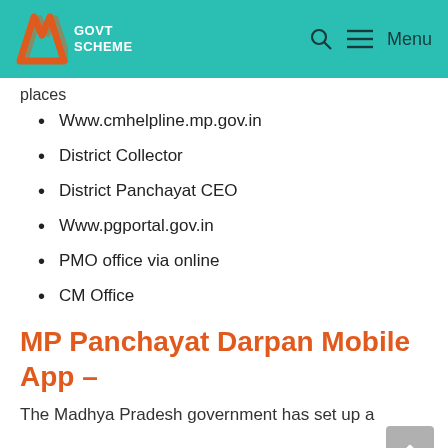GOVT SCHEME
places
Www.cmhelpline.mp.gov.in
District Collector
District Panchayat CEO
Www.pgportal.gov.in
PMO office via online
CM Office
MP Panchayat Darpan Mobile App –
The Madhya Pradesh government has set up a